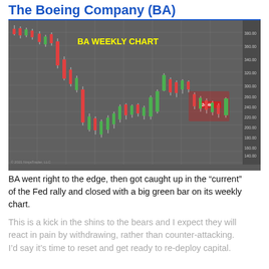The Boeing Company (BA)
[Figure (continuous-plot): BA Weekly candlestick chart from NinjaTrader LLC (© 2021), showing price history with red and green candles from approximately $80 to $380, with a red highlighted zone near the right at approximately $224.46. Chart labeled 'BA WEEKLY CHART' in yellow text.]
BA went right to the edge, then got caught up in the "current" of the Fed rally and closed with a big green bar on its weekly chart.
This is a kick in the shins to the bears and I expect they will react in pain by withdrawing, rather than counter-attacking. I'd say it's time to reset and get ready to re-deploy capital.